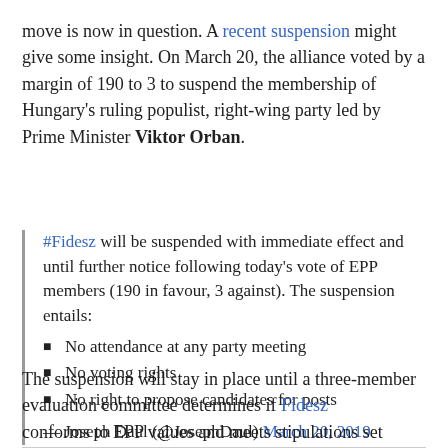move is now in question. A recent suspension might give some insight. On March 20, the alliance voted by a margin of 190 to 3 to suspend the membership of Hungary's ruling populist, right-wing party led by Prime Minister Viktor Orban.
#Fidesz will be suspended with immediate effect and until further notice following today's vote of EPP members (190 in favour, 3 against). The suspension entails:
No attendance at any party meeting
No voting rights
No right to propose candidates for posts
— Joseph Daul (@JosephDaul) March 20, 2019
The suspension will stay in place until a three-member evaluation committee determines if Fidesz conforms to EPP values and meets stipulations set